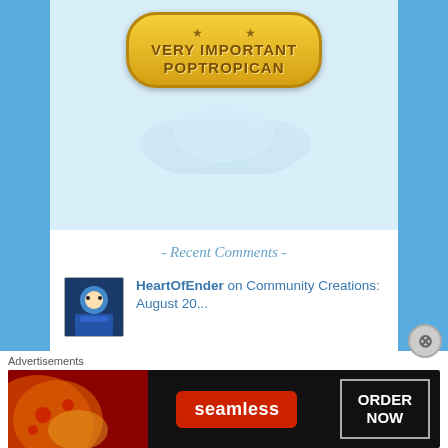[Figure (illustration): Very Important Poptropican gold badge with stars on blue background with cloud decorations]
- Recent Comments -
HeartOfEnder on Community Creations: August 20...
MaryannTheConqueror on The Villain Saga – Episo...
MaryannTheConqueror on The Villain Saga – Episo...
Advertisements
[Figure (screenshot): Seamless food ordering advertisement with pizza image, seamless logo and ORDER NOW button]